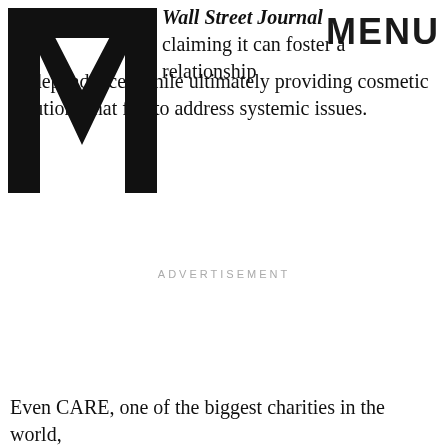MENU
Wall Street Journal claiming it can foster a relationship of dependence" while ultimately providing cosmetic solutions that fail to address systemic issues.
ADVERTISEMENT
Even CARE, one of the biggest charities in the world,